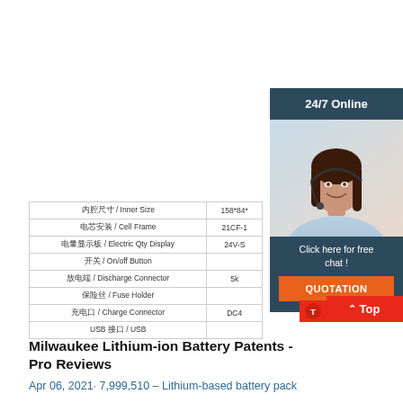[Figure (other): Advertisement sidebar with '24/7 Online' header, photo of woman with headset, 'Click here for free chat!' text, and orange QUOTATION button]
|  |  |
| --- | --- |
| 内腔尺寸 / Inner Size | 158*84* |
| 电芯安装 / Cell Frame | 21CF-1 |
| 电量显示板 / Electric Qty Display | 24V-S |
| 开关 / On/off Button |  |
| 放电端 / Discharge Connector | 5k |
| 保险丝 / Fuse Holder |  |
| 充电口 / Charge Connector | DC4 |
| USB 接口 / USB |  |
[Figure (other): Red 'Top' button with upward arrow for scroll-to-top navigation]
Milwaukee Lithium-ion Battery Patents - Pro Reviews
Apr 06, 2021· 7,999,510 – Lithium-based battery pack